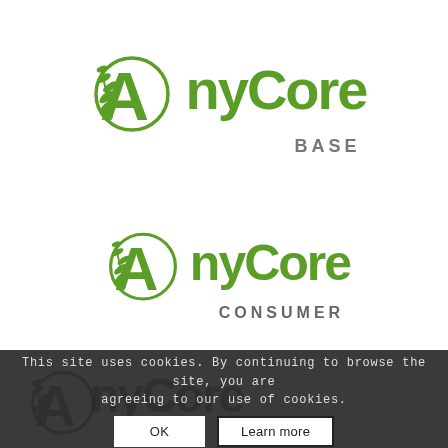[Figure (logo): AnyCore BASE logo — green circular emblem with wheat/leaf motif on left, 'AnyCore' in green bold sans-serif, 'BASE' in grey caps below right]
[Figure (logo): AnyCore CONSUMER logo — green circular emblem with wheat/leaf motif on left, 'AnyCore' in green bold sans-serif, 'CONSUMER' in grey caps below right]
This site uses cookies. By continuing to browse the site, you are agreeing to our use of cookies.
[Figure (logo): Partial AnyCore logo (dark/black, faded) visible behind cookie banner at bottom]